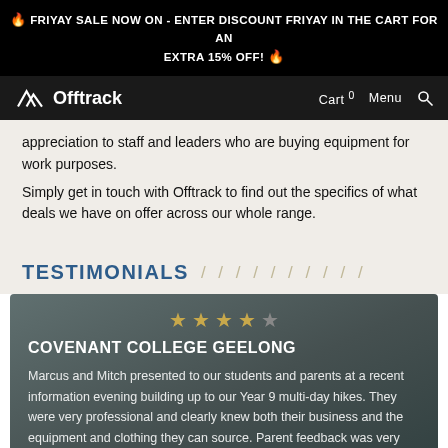🔥 FRIYAY SALE NOW ON - ENTER DISCOUNT FRIYAY IN THE CART FOR AN EXTRA 15% OFF! 🔥
Offtrack — Cart 0  Menu
appreciation to staff and leaders who are buying equipment for work purposes.
Simply get in touch with Offtrack to find out the specifics of what deals we have on offer across our whole range.
TESTIMONIALS
COVENANT COLLEGE GEELONG
Marcus and Mitch presented to our students and parents at a recent information evening building up to our Year 9 multi-day hikes. They were very professional and clearly knew both their business and the equipment and clothing they can source. Parent feedback was very positive. Parents said they found the process of ordering easy and hassle free, whilst